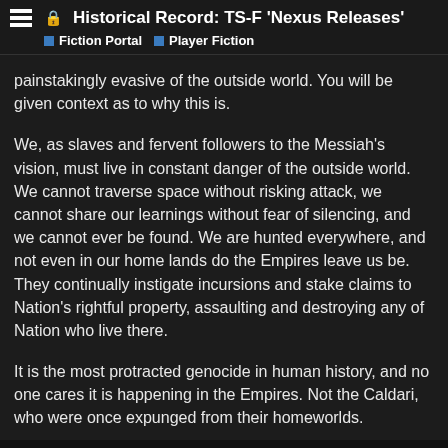Historical Record: TS-F 'Nexus Releases'
Fiction Portal  Player Fiction
painstakingly evasive of the outside world. You will be given context as to why this is.
We, as slaves and fervent followers to the Messiah's vision, must live in constant danger of the outside world. We cannot traverse space without risking attack, we cannot share our learnings without fear of silencing, and we cannot ever be found. We are hunted everywhere, and not even in our home lands do the Empires leave us be. They continually instigate incursions and stake claims to Nation's rightful property, assaulting and destroying any of Nation who live there.
It is the most protracted genocide in human history, and no one cares it is happening in the Empires. Not the Caldari, who were once expunged from their homeworlds.